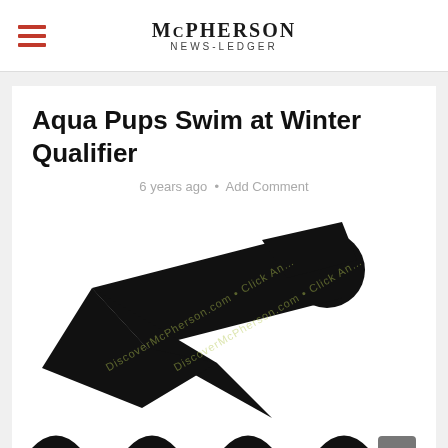McPHERSON News-Ledger
Aqua Pups Swim at Winter Qualifier
6 years ago • Add Comment
[Figure (illustration): Black silhouette icon of a swimmer doing freestyle stroke, with wave shapes at the bottom. Watermark text overlaid diagonally in light yellow-green.]